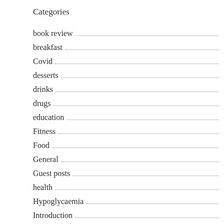Categories
book review
breakfast
Covid
desserts
drinks
drugs
education
Fitness
Food
General
Guest posts
health
Hypoglycaemia
Introduction